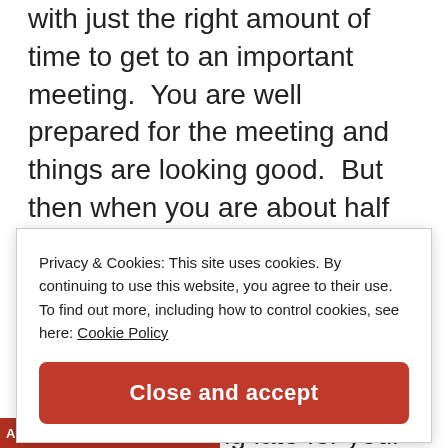with just the right amount of time to get to an important meeting.  You are well prepared for the meeting and things are looking good.  But then when you are about half way to the meeting you hit some crazy traffic that just about brings you to a halt. You are anxiously putting along and starting to stress more and more about being late for your meeting.  Pretty soon the starting time of the meeting comes and goes and you are still blocked away from your meeting place. Y...
Privacy & Cookies: This site uses cookies. By continuing to use this website, you agree to their use.
To find out more, including how to control cookies, see here: Cookie Policy
Close and accept
[Figure (photo): Bottom bar with red background and text 'Accountability']